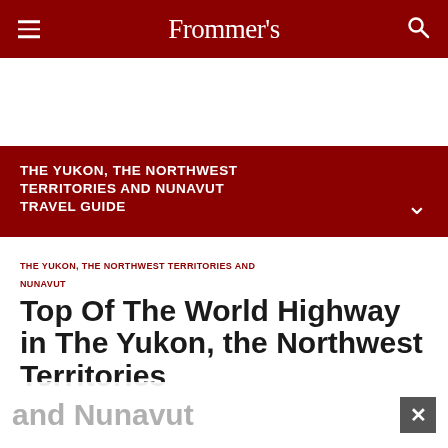Frommer's
THE YUKON, THE NORTHWEST TERRITORIES AND NUNAVUT TRAVEL GUIDE
THE YUKON, THE NORTHWEST TERRITORIES AND NUNAVUT
Top Of The World Highway in The Yukon, the Northwest Territories and Nunavut